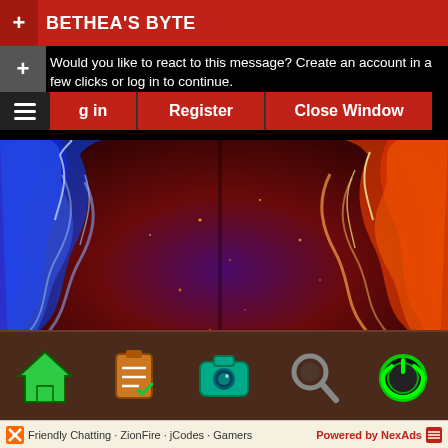BETHEA'S BYTE
Would you like to react to this message? Create an account in a few clicks or log in to continue.
Log in   Register   Close Window
[Figure (illustration): Blue and red/orange fire flames background image - blue flames on left, red/orange flames on right, merging into purple/dark center]
[Figure (infographic): Bottom navigation bar with 5 icons: green house/home icon, orange notepad/checklist icon, teal/green camera icon, gray magnifying glass/search icon, green power button icon]
Friendly Chatting · ZionFire · jCodes · Gamers   Powered by NexAds